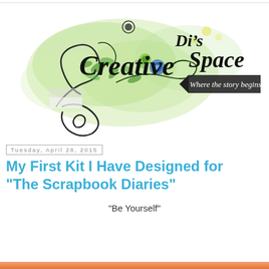[Figure (logo): Di's Creative Space blog logo with decorative green watercolor swirls, floral elements, handwritten-style text reading 'Di's Creative Space' and a dark banner reading 'Where the story begins...']
Tuesday, April 28, 2015
My First Kit I Have Designed for "The Scrapbook Diaries"
"Be Yourself"